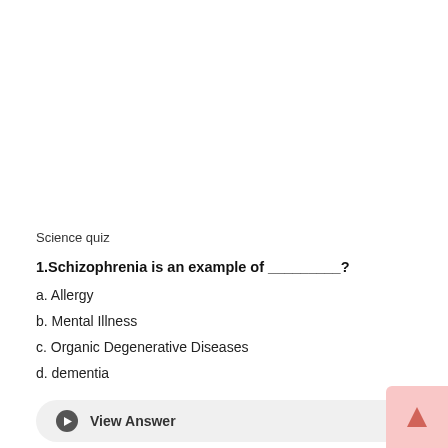Science quiz
1.Schizophrenia is an example of _________?
a. Allergy
b. Mental Illness
c. Organic Degenerative Diseases
d. dementia
View Answer
2.UNICEF has recently declared India free from which of the